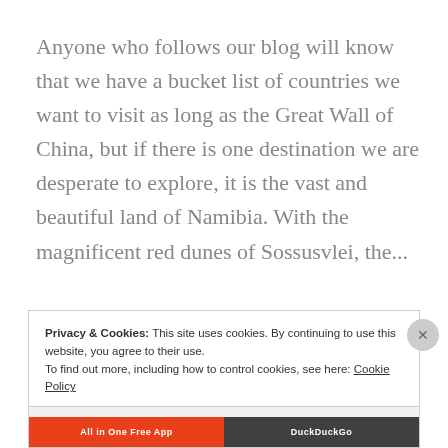Anyone who follows our blog will know that we have a bucket list of countries we want to visit as long as the Great Wall of China, but if there is one destination we are desperate to explore, it is the vast and beautiful land of Namibia. With the magnificent red dunes of Sossusvlei, the...
[Figure (other): Teal/turquoise READ MORE button]
Privacy & Cookies: This site uses cookies. By continuing to use this website, you agree to their use.
To find out more, including how to control cookies, see here: Cookie Policy
Close and accept